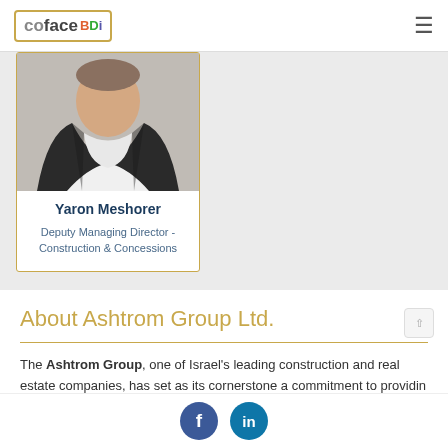coface BDi
[Figure (photo): Photo of Yaron Meshorer, a man in a dark suit jacket and white shirt]
Yaron Meshorer
Deputy Managing Director - Construction & Concessions
About Ashtrom Group Ltd.
The Ashtrom Group, one of Israel's leading construction and real estate companies, has set as its cornerstone a commitment to providin professional and comprehensive solutions for its customers, fron to